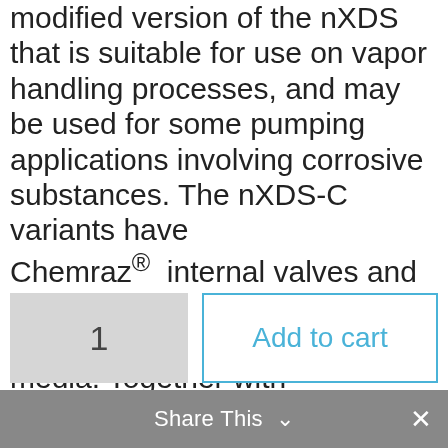modified version of the nXDS that is suitable for use on vapor handling processes, and may be used for some pumping applications involving corrosive substances. The nXDS-C variants have Chemraz® internal valves and stainless steel fittings for extra protection from the pumped media. Together with exceptional pumping capability, ultimate vacuum performance and state-of-the-art design features, the nXDS-C dry scroll pump is the best performing pump in its class.
1
Add to cart
Share This ∨  ×